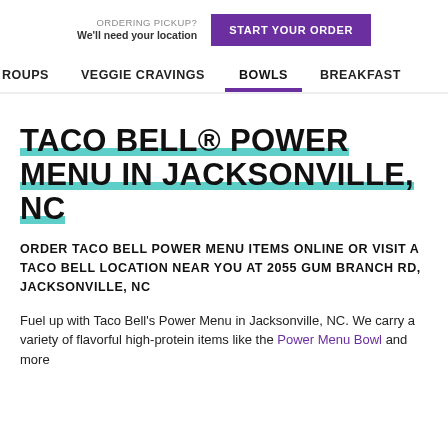ORDERING PICKUP? We'll need your location  START YOUR ORDER
ROUPS  VEGGIE CRAVINGS  BOWLS  BREAKFAST
TACO BELL® POWER MENU IN JACKSONVILLE, NC
ORDER TACO BELL POWER MENU ITEMS ONLINE OR VISIT A TACO BELL LOCATION NEAR YOU AT 2055 GUM BRANCH RD, JACKSONVILLE, NC
Fuel up with Taco Bell's Power Menu in Jacksonville, NC. We carry a variety of flavorful high-protein items like the Power Menu Bowl and more